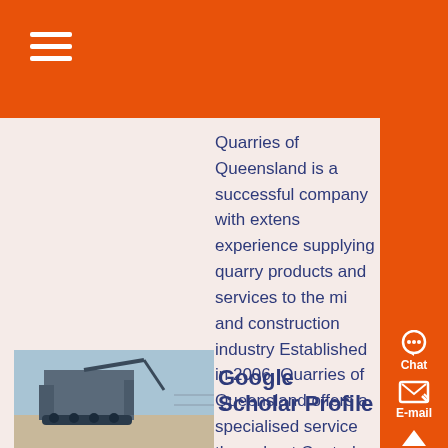Quarries of Queensland is a successful company with extensive experience supplying quarry products and services to the mining and construction industry Established in 2006, Quarries of Queensland offers a specialised service throughout Central Queensland supplying a full range of quarry products and onsite crushing and screening...
[Figure (photo): Industrial machinery/quarry equipment photographed outdoors]
Google Scholar Profile